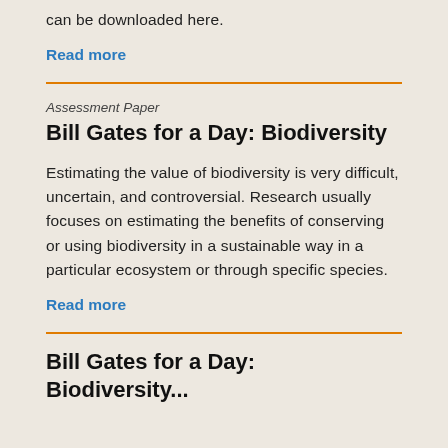can be downloaded here.
Read more
Assessment Paper
Bill Gates for a Day: Biodiversity
Estimating the value of biodiversity is very difficult, uncertain, and controversial. Research usually focuses on estimating the benefits of conserving or using biodiversity in a sustainable way in a particular ecosystem or through specific species.
Read more
Bill Gates for a Day: Biodiversity...